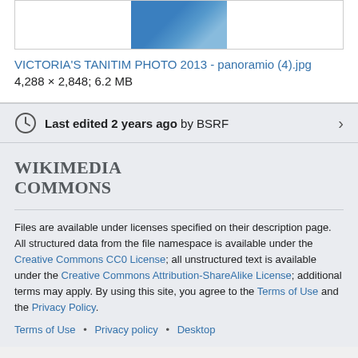[Figure (photo): Partial view of a photo thumbnail at the top of the page]
VICTORIA'S TANITIM PHOTO 2013 - panoramio (4).jpg
4,288 × 2,848; 6.2 MB
Last edited 2 years ago by BSRF
WIKIMEDIA COMMONS
Files are available under licenses specified on their description page. All structured data from the file namespace is available under the Creative Commons CC0 License; all unstructured text is available under the Creative Commons Attribution-ShareAlike License; additional terms may apply. By using this site, you agree to the Terms of Use and the Privacy Policy.
Terms of Use • Privacy policy • Desktop